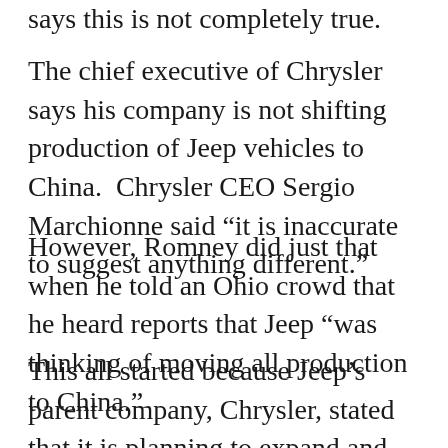says this is not completely true.
The chief executive of Chrysler says his company is not shifting production of Jeep vehicles to China.  Chrysler CEO Sergio Marchionne said “it is inaccurate to suggest anything different.”
However, Romney did just that when he told an Ohio crowd that he heard reports that Jeep “was thinking of moving all production to China.”
This all started because Jeep’s parent company, Chrysler, stated that it is planning to expand and that its new facilities will be in China. He also